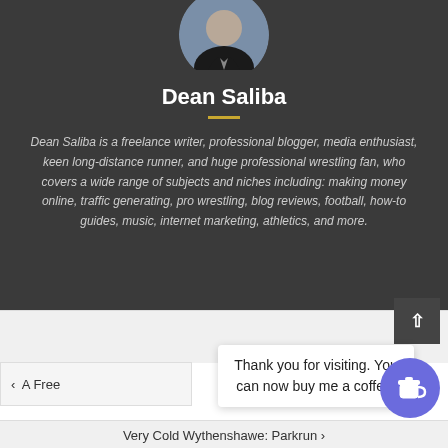[Figure (photo): Circular avatar photo of Dean Saliba in a dark suit, cropped at the shoulders]
Dean Saliba
Dean Saliba is a freelance writer, professional blogger, media enthusiast, keen long-distance runner, and huge professional wrestling fan, who covers a wide range of subjects and niches including: making money online, traffic generating, pro wrestling, blog reviews, football, how-to guides, music, internet marketing, athletics, and more.
Thank you for visiting. You can now buy me a coffee!
‹ A Free